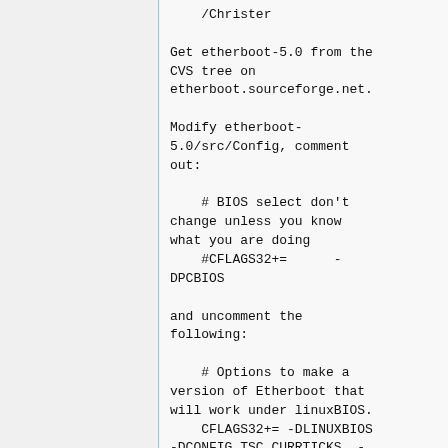/Christer
Get etherboot-5.0 from the CVS tree on etherboot.sourceforge.net.
Modify etherboot-5.0/src/Config, comment out:
# BIOS select don't change unless you know what you are doing
    #CFLAGS32+=      -DPCBIOS
and uncomment the following:
# Options to make a version of Etherboot that will work under linuxBIOS.
    CFLAGS32= -DLINUXBIOS -DCONFIG_TSC_CURRTICKS  -DCONSOLE_SERIAL )